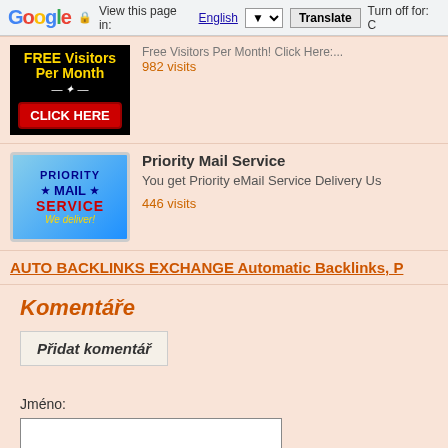Google — View this page in: English [▼] Translate | Turn off for: C
[Figure (screenshot): FREE Visitors Per Month CLICK HERE advertisement banner]
Free Visitors Per Month! Click Here:....
982 visits
[Figure (screenshot): Priority Mail Service - We deliver! advertisement banner]
Priority Mail Service
You get Priority eMail Service Delivery Us
446 visits
AUTO BACKLINKS EXCHANGE Automatic Backlinks, P
Komentáře
Přidat komentář
Jméno: